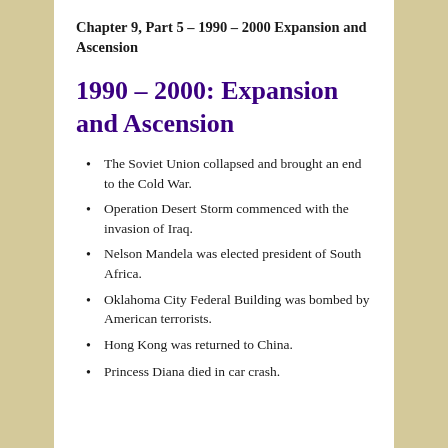Chapter 9, Part 5 – 1990 – 2000 Expansion and Ascension
1990 – 2000: Expansion and Ascension
The Soviet Union collapsed and brought an end to the Cold War.
Operation Desert Storm commenced with the invasion of Iraq.
Nelson Mandela was elected president of South Africa.
Oklahoma City Federal Building was bombed by American terrorists.
Hong Kong was returned to China.
Princess Diana died in car crash.